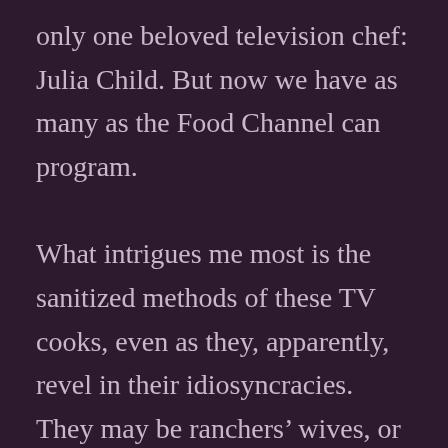only one beloved television chef: Julia Child. But now we have as many as the Food Channel can program.

What intrigues me most is the sanitized methods of these TV cooks, even as they, apparently, revel in their idiosyncracies. They may be ranchers' wives, or girls who dress up in costumes to match their menus, or people who have very tight budgets, but their ingredients are mise en place, their kitchens are carefully